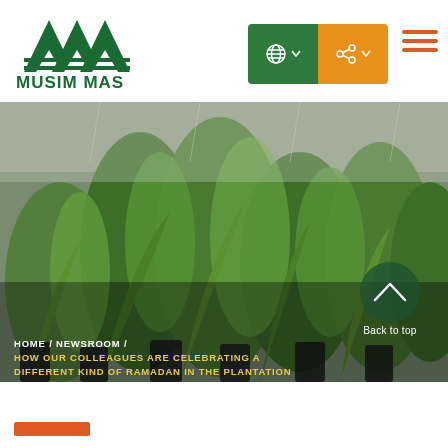[Figure (logo): Musim Mas company logo with green triangular mountain/pyramid shapes and green text 'MUSIM MAS']
[Figure (screenshot): Website navigation header with green globe icon button and orange share icon button, and orange hamburger menu icon]
[Figure (photo): Background hero image of young green palm oil seedlings in black plastic bags with mist/water spray, with a 'Back to top' button overlay in dark green circle]
HOME / NEWSROOM / HOW OUR COLLEAGUES ARE CELEBRATING A DIFFERENT KIND OF RAMADAN IN THE PLANTATION